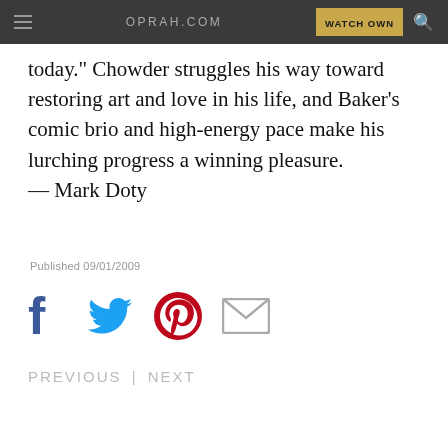OPRAH.COM | WATCH OWN
today." Chowder struggles his way toward restoring art and love in his life, and Baker's comic brio and high-energy pace make his lurching progress a winning pleasure.
— Mark Doty
Published 09/01/2009
[Figure (infographic): Social sharing icons: Facebook (blue f), Twitter (blue bird), Pinterest (red P), Email (grey envelope)]
PREVIOUS | NEXT